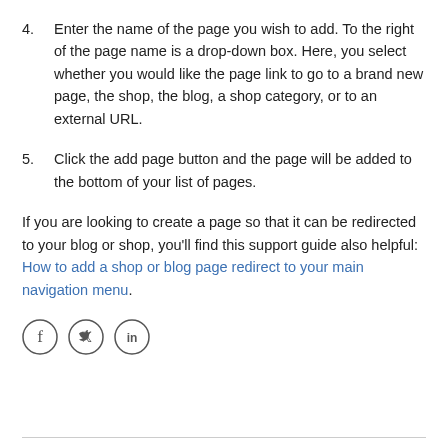4. Enter the name of the page you wish to add. To the right of the page name is a drop-down box. Here, you select whether you would like the page link to go to a brand new page, the shop, the blog, a shop category, or to an external URL.
5. Click the add page button and the page will be added to the bottom of your list of pages.
If you are looking to create a page so that it can be redirected to your blog or shop, you'll find this support guide also helpful:  How to add a shop or blog page redirect to your main navigation menu.
[Figure (other): Social media icons: Facebook, Twitter, LinkedIn in circles]